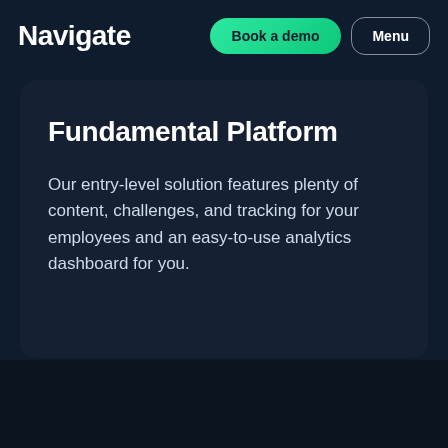Navigate
Fundamental Platform
Our entry-level solution features plenty of content, challenges, and tracking for your employees and an easy-to-use analytics dashboard for you.